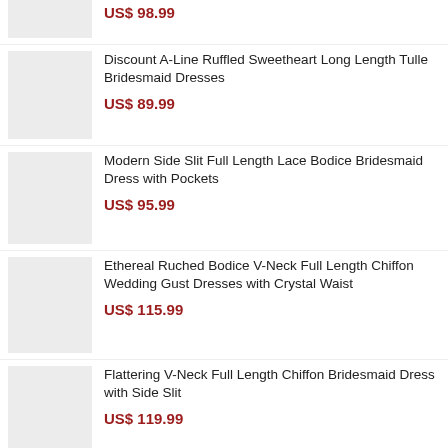US$ 98.99
Discount A-Line Ruffled Sweetheart Long Length Tulle Bridesmaid Dresses
US$ 89.99
Modern Side Slit Full Length Lace Bodice Bridesmaid Dress with Pockets
US$ 95.99
Ethereal Ruched Bodice V-Neck Full Length Chiffon Wedding Gust Dresses with Crystal Waist
US$ 115.99
Flattering V-Neck Full Length Chiffon Bridesmaid Dress with Side Slit
US$ 119.99
Vintage Strapless Floor Length Chiffon Bridesmaid/ Wedding Party Dress
US$ 92.95